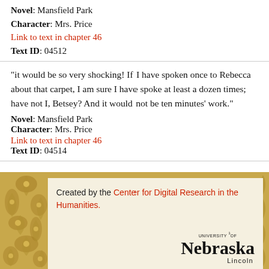Novel: Mansfield Park
Character: Mrs. Price
Link to text in chapter 46
Text ID: 04512
"it would be so very shocking! If I have spoken once to Rebecca about that carpet, I am sure I have spoke at least a dozen times; have not I, Betsey? And it would not be ten minutes' work."
Novel: Mansfield Park
Character: Mrs. Price
Link to text in chapter 46
Text ID: 04514
[Figure (illustration): University of Nebraska Lincoln footer banner with gold floral decorative border and 'Created by the Center for Digital Research in the Humanities.' text with University of Nebraska Lincoln logo.]